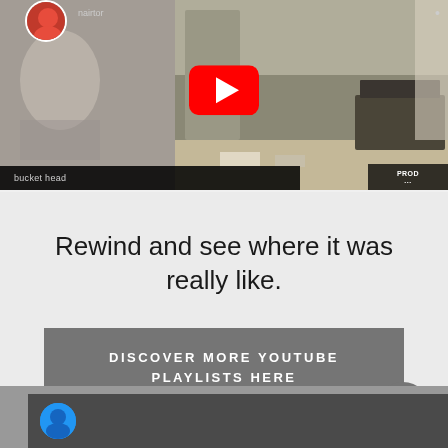[Figure (screenshot): YouTube video thumbnail showing a living room scene with a person standing, a TV with blue screen, and a large YouTube play button overlay in the center. There is a channel avatar in top-left, channel name 'nairtor', a caption bar at the bottom reading 'bucket head', and a PROD badge at bottom right.]
Rewind and see where it was really like.
DISCOVER MORE YOUTUBE PLAYLISTS HERE
[Figure (screenshot): Bottom strip showing the beginning of another YouTube video thumbnail with a blue circular avatar visible at the left edge.]